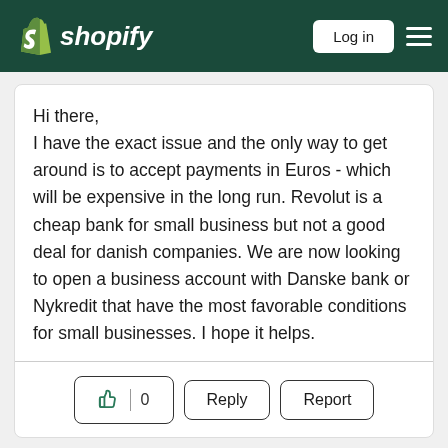Shopify — Log in
Hi there,
I have the exact issue and the only way to get around is to accept payments in Euros - which will be expensive in the long run. Revolut is a cheap bank for small business but not a good deal for danish companies. We are now looking to open a business account with Danske bank or Nykredit that have the most favorable conditions for small businesses. I hope it helps.